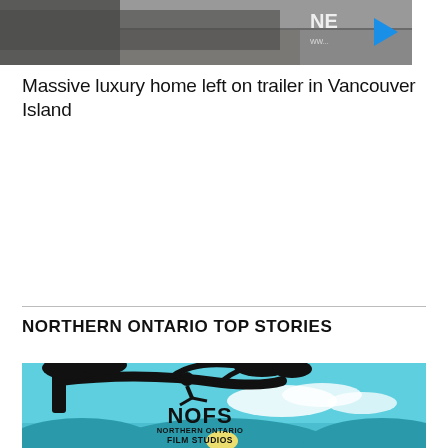[Figure (photo): Outdoor scene showing a road or driveway with a vehicle, partially visible news channel watermark 'NE' in top right corner]
Massive luxury home left on trailer in Vancouver Island
NORTHERN ONTARIO TOP STORIES
[Figure (logo): NOFS Northern Ontario Film Studios logo — silhouette of a person reclining in a tree against a blue sky with clouds, sun rising over hills, bold text NOFS and NORTHERN ONTARIO FILM STUDIOS below]